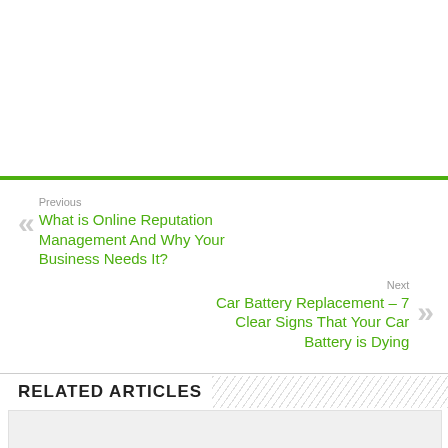Previous
What is Online Reputation Management And Why Your Business Needs It?
Next
Car Battery Replacement – 7 Clear Signs That Your Car Battery is Dying
RELATED ARTICLES
[Figure (other): Empty image placeholder below Related Articles section]